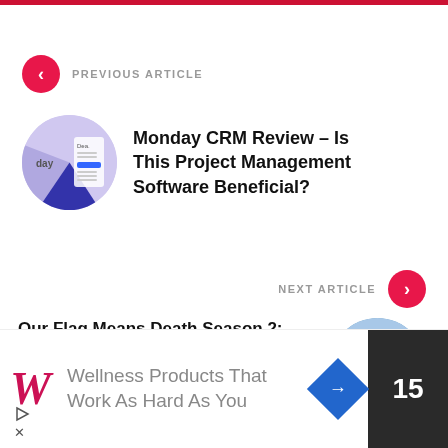PREVIOUS ARTICLE
Monday CRM Review - Is This Project Management Software Beneficial?
NEXT ARTICLE
Our Flag Means Death Season 2: Confirmed Release Date, Did The Show Finally Get Renewed?
[Figure (infographic): Advertisement banner: Walgreens logo with text 'Wellness Products That Work As Hard As You' and navigation arrow icons, with dark box showing number 15]